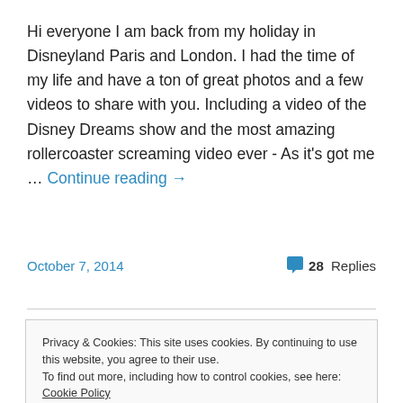Hi everyone I am back from my holiday in Disneyland Paris and London. I had the time of my life and have a ton of great photos and a few videos to share with you. Including a video of the Disney Dreams show and the most amazing rollercoaster screaming video ever - As it's got me … Continue reading →
October 7, 2014   28 Replies
Privacy & Cookies: This site uses cookies. By continuing to use this website, you agree to their use.
To find out more, including how to control cookies, see here: Cookie Policy
Close and accept